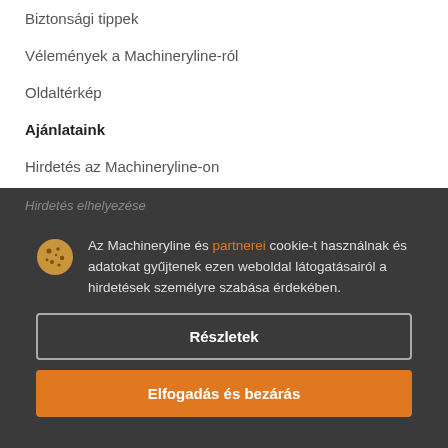Biztonsági tippek
Vélemények a Machineryline-ról
Oldaltérkép
Ajánlataink
Hirdetés az Machineryline-on
Hirdetés elhelyezése
Az Machineryline és partnerei cookie-t használnak és adatokat gyűjtenek ezen weboldal látogatásairól a hirdetések személyre szabása érdekében.
Részletek
Elfogadás és bezárás